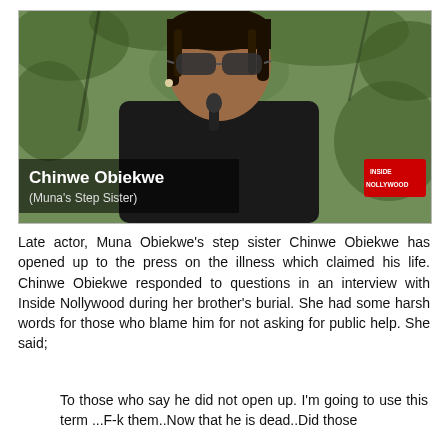[Figure (photo): A woman named Chinwe Obiekwe (Muna's Step Sister) being interviewed outdoors, wearing sunglasses and a dark top, with green foliage in the background. An Inside Nollywood logo appears in the lower right corner of the video frame. A microphone is visible near her chin.]
Late actor, Muna Obiekwe's step sister Chinwe Obiekwe has opened up to the press on the illness which claimed his life. Chinwe Obiekwe responded to questions in an interview with Inside Nollywood during her brother's burial. She had some harsh words for those who blame him for not asking for public help. She said;
To those who say he did not open up. I'm going to use this term ...F-k them..Now that he is dead..Did those